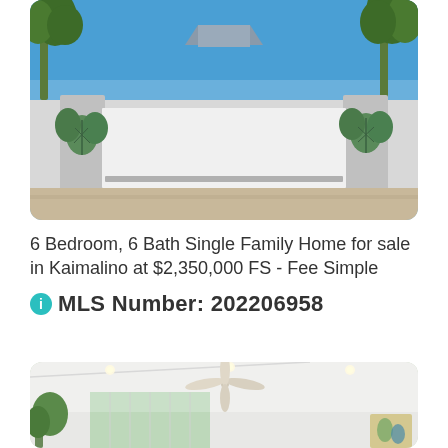[Figure (photo): Exterior photo of a single family home showing a white sliding gate with monstera leaf decorations on concrete pillars, palm trees and blue sky in background, driveway in foreground]
6 Bedroom, 6 Bath Single Family Home for sale in Kaimalino at $2,350,000 FS - Fee Simple
MLS Number: 202206958
[Figure (photo): Interior photo of a bright living room with white ceiling, ceiling fan, recessed lighting, large windows with tropical foliage outside, and decorative wall art]